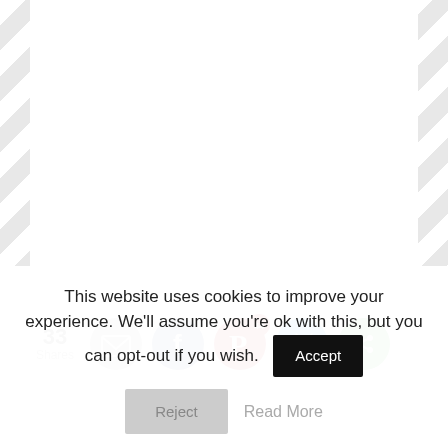[Figure (infographic): Social sharing bar with 33 Shares count, and icons for Email (grey), Facebook (blue), Pinterest (red, badge showing 44), Twitter (light blue), and a green circular share icon]
This website uses cookies to improve your experience. We'll assume you're ok with this, but you can opt-out if you wish.
Accept
Reject
Read More